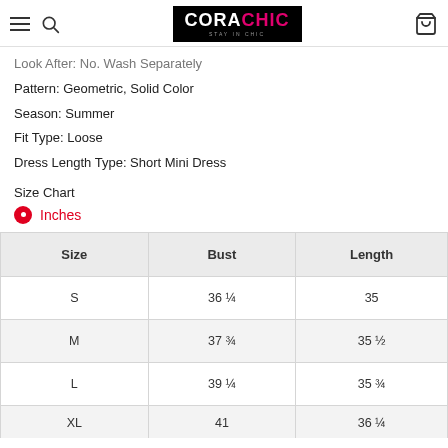CORACHIC
Look After: No. Wash Separately
Pattern: Geometric, Solid Color
Season: Summer
Fit Type: Loose
Dress Length Type: Short Mini Dress
Size Chart
Inches
| Size | Bust | Length |
| --- | --- | --- |
| S | 36 ¼ | 35 |
| M | 37 ¾ | 35 ½ |
| L | 39 ¼ | 35 ¾ |
| XL | 41 | 36 ¼ |